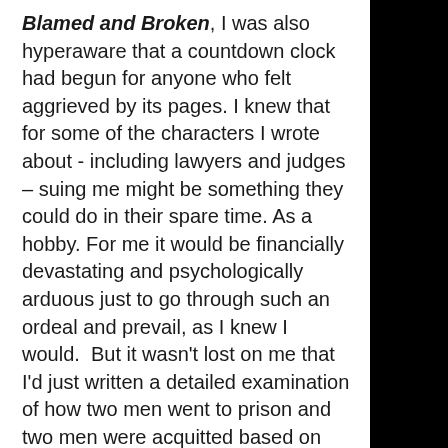Blamed and Broken, I was also hyperaware that a countdown clock had begun for anyone who felt aggrieved by its pages. I knew that for some of the characters I wrote about - including lawyers and judges – suing me might be something they could do in their spare time. As a hobby. For me it would be financially devastating and psychologically arduous just to go through such an ordeal and prevail, as I knew I would.  But it wasn't lost on me that I'd just written a detailed examination of how two men went to prison and two men were acquitted based on the same theory that all four had colluded to coverup their role in a death. Prevailing or prison, appeared to turn on the opinion of a particular